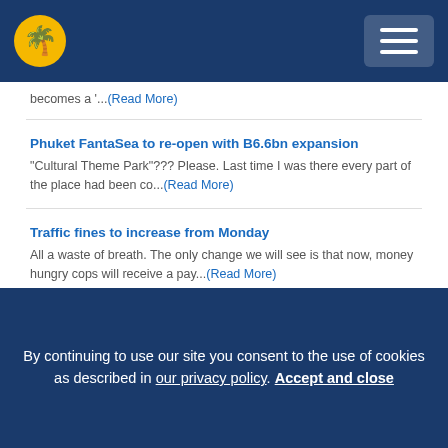Logo and navigation menu
becomes a '...(Read More)
Phuket FantaSea to re-open with B6.6bn expansion
"Cultural Theme Park"??? Please. Last time I was there every part of the place had been co...(Read More)
Traffic fines to increase from Monday
All a waste of breath. The only change we will see is that now, money hungry cops will receive a pay...(Read More)
Phuket tourists caught in taxi dispute over passengers
By continuing to use our site you consent to the use of cookies as described in our privacy policy. Accept and close